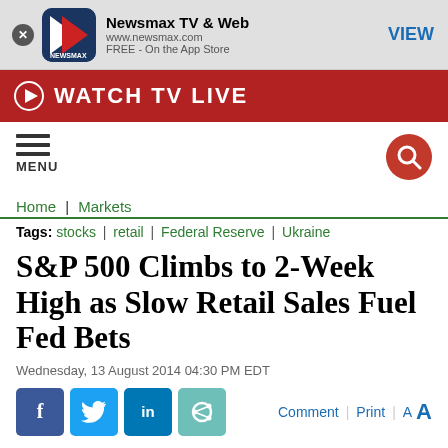[Figure (screenshot): Newsmax app banner with logo, app name 'Newsmax TV & Web', URL and App Store info, and VIEW button]
WATCH TV LIVE
[Figure (screenshot): Navigation bar with hamburger menu (MENU) on left and search icon on right]
Home | Markets
Tags: stocks | retail | Federal Reserve | Ukraine
S&P 500 Climbs to 2-Week High as Slow Retail Sales Fuel Fed Bets
Wednesday, 13 August 2014 04:30 PM EDT
[Figure (screenshot): Social sharing bar with Facebook, Twitter, LinkedIn, share buttons and Comment, Print, font size options]